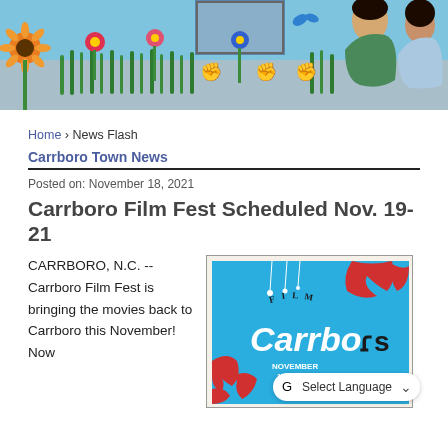[Figure (photo): A colorful mural on a light blue brick wall featuring flowers, raised fists, and two women figures]
Home › News Flash
Carrboro Town News
Posted on: November 18, 2021
Carrboro Film Fest Scheduled Nov. 19-21
CARRBORO, N.C. -- Carrboro Film Fest is bringing the movies back to Carrboro this November!  Now
[Figure (illustration): Carrboro Film Fest promotional graphic on blue background with red leaf decorations, text reading FILM Carrboro FEST NOVEMBER 19-21]
Select Language